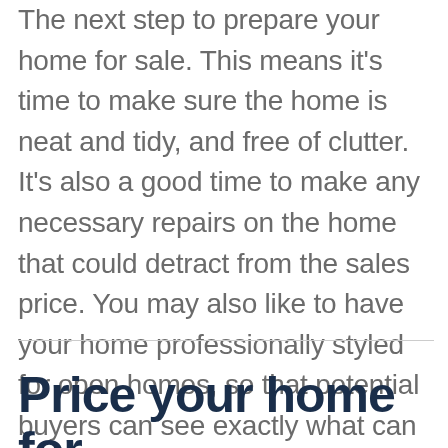The next step to prepare your home for sale. This means it's time to make sure the home is neat and tidy, and free of clutter. It's also a good time to make any necessary repairs on the home that could detract from the sales price. You may also like to have your home professionally styled for open homes, so that potential buyers can see exactly what can be done with the space.
Price your home for